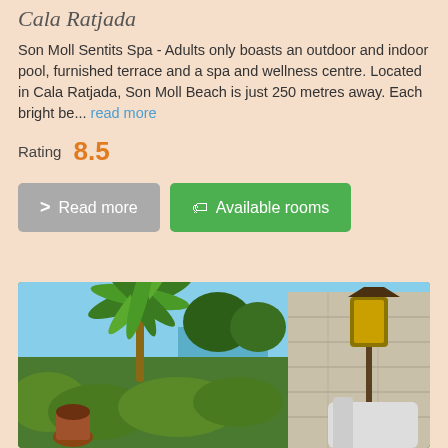Cala Ratjada
Son Moll Sentits Spa - Adults only boasts an outdoor and indoor pool, furnished terrace and a spa and wellness centre. Located in Cala Ratjada, Son Moll Beach is just 250 metres away. Each bright be... read more
Rating  8.5
[Figure (photo): Outdoor terrace with palm trees, lush green plants, a decorative street lamp with yellow glass, a stone wall, and a white lounger chair. Blue sky and sea visible in background.]